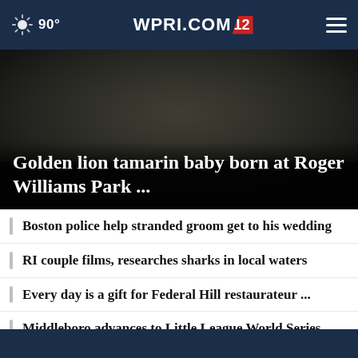90° WPRI.COM 12
[Figure (photo): Dark background photo, likely of a golden lion tamarin monkey at Roger Williams Park Zoo]
Golden lion tamarin baby born at Roger Williams Park ...
Boston police help stranded groom get to his wedding
RI couple films, researches sharks in local waters
Every day is a gift for Federal Hill restaurateur ...
Middleboro advances to Little League World Series